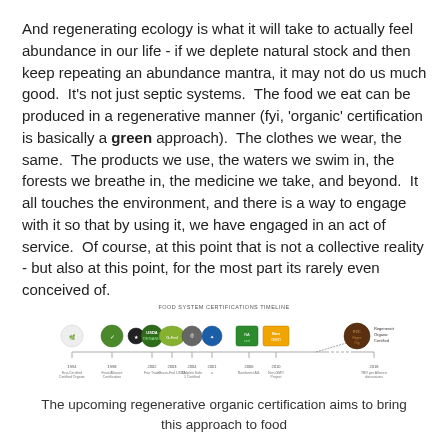And regenerating ecology is what it will take to actually feel abundance in our life - if we deplete natural stock and then keep repeating an abundance mantra, it may not do us much good.  It's not just septic systems.  The food we eat can be produced in a regenerative manner (fyi, 'organic' certification is basically a green approach).  The clothes we wear, the same.  The products we use, the waters we swim in, the forests we breathe in, the medicine we take, and beyond.  It all touches the environment, and there is a way to engage with it so that by using it, we have engaged in an act of service.  Of course, at this point that is not a collective reality - but also at this point, for the most part its rarely even conceived of.
[Figure (infographic): Food system certifications timeline showing logos of various organic and sustainable certifications from 1994 to 2018, ending with Regenerative Organic Certified.]
The upcoming regenerative organic certification aims to bring this approach to food